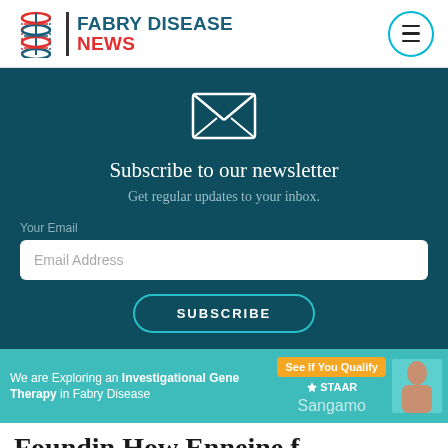[Figure (logo): Fabry Disease News logo with DNA helix icon, site name in blue and red]
[Figure (illustration): Envelope icon (newsletter subscription graphic) in white outline on teal background]
Subscribe to our newsletter
Get regular updates to your inbox.
Your Email
Email Address
SUBSCRIBE
[Figure (infographic): Advertisement banner: We are Exploring an Investigational Gene Therapy in Fabry Disease - See If You Qualify - STAAR Sangamo]
Foundin How Enneine f